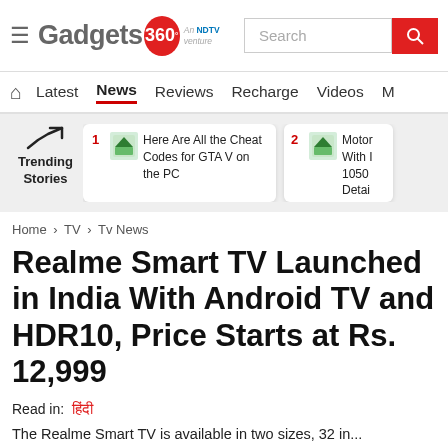[Figure (logo): Gadgets 360 logo with hamburger menu and search bar]
Latest | News | Reviews | Recharge | Videos | M
[Figure (infographic): Trending Stories section with two cards: 1. Here Are All the Cheat Codes for GTA V on the PC, 2. Moto... With 1050 Detai...]
Home > TV > Tv News
Realme Smart TV Launched in India With Android TV and HDR10, Price Starts at Rs. 12,999
Read in: हिंदी
The Realme Smart TV is available in two sizes, 32 in...